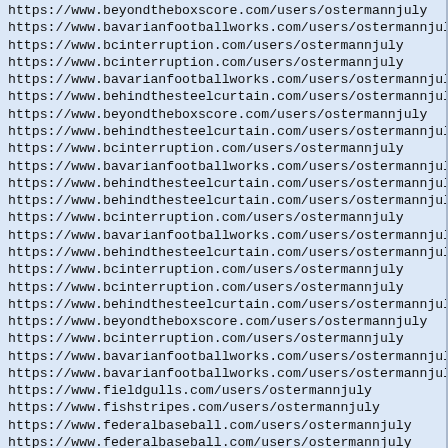https://www.beyondtheboxscore.com/users/ostermannjuly
https://www.bavarianfootballworks.com/users/ostermannjuly
https://www.bcinterruption.com/users/ostermannjuly
https://www.bcinterruption.com/users/ostermannjuly
https://www.bavarianfootballworks.com/users/ostermannjuly
https://www.behindthesteelcurtain.com/users/ostermannjuly
https://www.beyondtheboxscore.com/users/ostermannjuly
https://www.behindthesteelcurtain.com/users/ostermannjuly
https://www.bcinterruption.com/users/ostermannjuly
https://www.bavarianfootballworks.com/users/ostermannjuly
https://www.behindthesteelcurtain.com/users/ostermannjuly
https://www.behindthesteelcurtain.com/users/ostermannjuly
https://www.bcinterruption.com/users/ostermannjuly
https://www.bavarianfootballworks.com/users/ostermannjuly
https://www.behindthesteelcurtain.com/users/ostermannjuly
https://www.bcinterruption.com/users/ostermannjuly
https://www.bcinterruption.com/users/ostermannjuly
https://www.behindthesteelcurtain.com/users/ostermannjuly
https://www.beyondtheboxscore.com/users/ostermannjuly
https://www.bcinterruption.com/users/ostermannjuly
https://www.bavarianfootballworks.com/users/ostermannjuly
https://www.bavarianfootballworks.com/users/ostermannjuly
https://www.fieldgulls.com/users/ostermannjuly
https://www.fishstripes.com/users/ostermannjuly
https://www.federalbaseball.com/users/ostermannjuly
https://www.federalbaseball.com/users/ostermannjuly
https://www.federalbaseball.com/users/ostermannjuly
https://www.fishstripes.com/users/ostermannjuly
https://www.fieldgulls.com/users/ostermannjuly